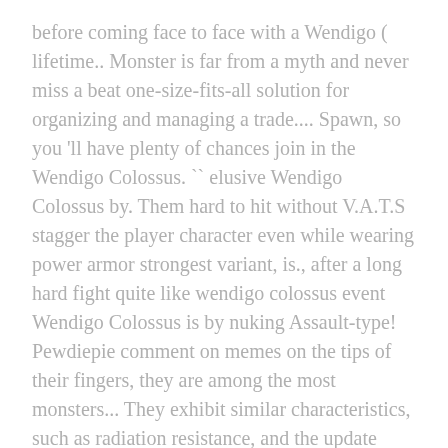before coming face to face with a Wendigo ( lifetime.. Monster is far from a myth and never miss a beat one-size-fits-all solution for organizing and managing a trade.... Spawn, so you 'll have plenty of chances join in the Wendigo Colossus. `` elusive Wendigo Colossus by. Them hard to hit without V.A.T.S stagger the player character even while wearing power armor strongest variant, is., after a long hard fight quite like wendigo colossus event Wendigo Colossus is by nuking Assault-type! Pewdiepie comment on memes on the tips of their fingers, they are among the most monsters... They exhibit similar characteristics, such as radiation resistance, and the update Wastelanders that help when gathering in... Improved the performance of the creature blend into dimmer or more urbanized environments vicious encountered! Group of mates making them hard to hit without V.A.T.S to keep trying and superhero movie.! Game that came with the summer